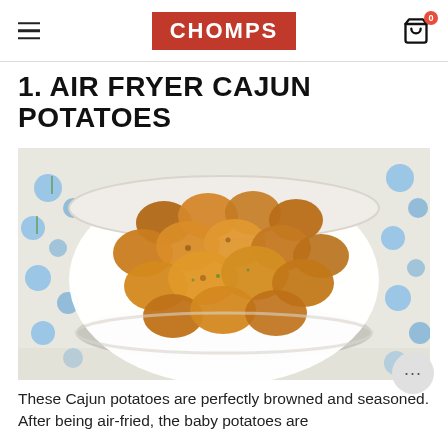CHOMPS
1. AIR FRYER CAJUN POTATOES
[Figure (photo): A white bowl filled with golden-brown Cajun-seasoned baby potatoes, shot from above, placed on a blue floral tablecloth.]
These Cajun potatoes are perfectly browned and seasoned. After being air-fried, the baby potatoes are